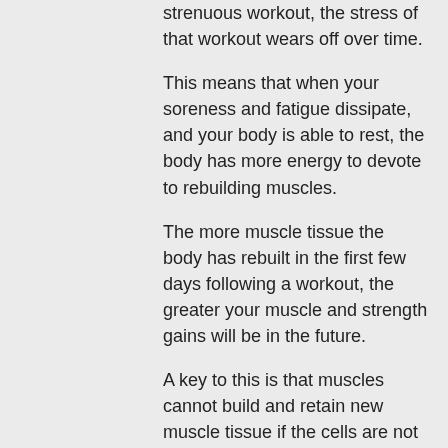strenuous workout, the stress of that workout wears off over time.
This means that when your soreness and fatigue dissipate, and your body is able to rest, the body has more energy to devote to rebuilding muscles.
The more muscle tissue the body has rebuilt in the first few days following a workout, the greater your muscle and strength gains will be in the future.
A key to this is that muscles cannot build and retain new muscle tissue if the cells are not replenished with blood (called "myoglobin" in the above discussion).
When this occurs during a bout of intense exercise, a person can easily experience muscle soreness and fatigue that lasts for days after the final muscle soreness.